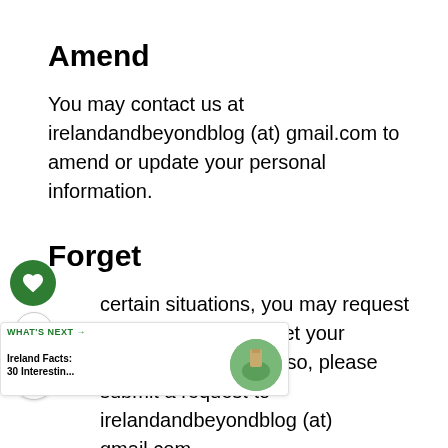Amend
You may contact us at irelandandbeyondblog (at) gmail.com to amend or update your personal information.
Forget
In certain situations, you may request that we erase or forget your personal data. To do so, please submit a request to irelandandbeyondblog (at) gmail.com.
Please note that we may need to retain